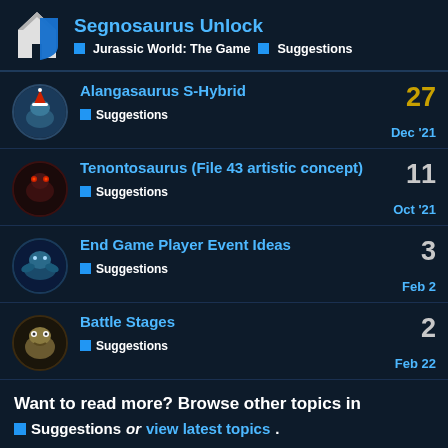Segnosaurus Unlock | Jurassic World: The Game > Suggestions
Alangasaurus S-Hybrid | Suggestions | Dec '21 | 27
Tenontosaurus (File 43 artistic concept) | Suggestions | Oct '21 | 11
End Game Player Event Ideas | Suggestions | Feb 2 | 3
Battle Stages | Suggestions | Feb 22 | 2
Want to read more? Browse other topics in Suggestions or view latest topics.